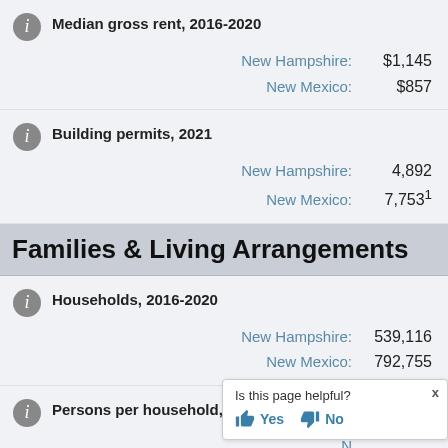Median gross rent, 2016-2020
New Hampshire: $1,145
New Mexico: $857
Building permits, 2021
New Hampshire: 4,892
New Mexico: 7,7531
Families & Living Arrangements
Households, 2016-2020
New Hampshire: 539,116
New Mexico: 792,755
Persons per household, 2016-